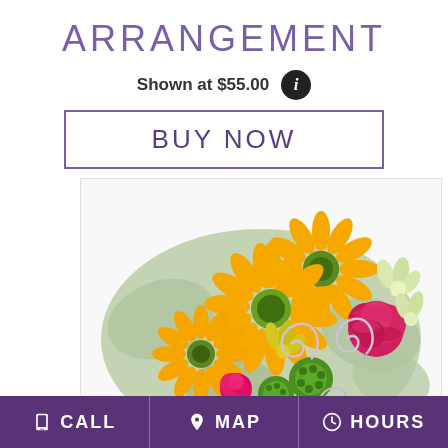ARRANGEMENT
Shown at $55.00
BUY NOW
[Figure (photo): Flower arrangement featuring orange gerbera daisies, pink roses, red carnations, green button mums, white alstroemeria, and decorative silver spiral wire accents with green foliage.]
CALL  MAP  HOURS